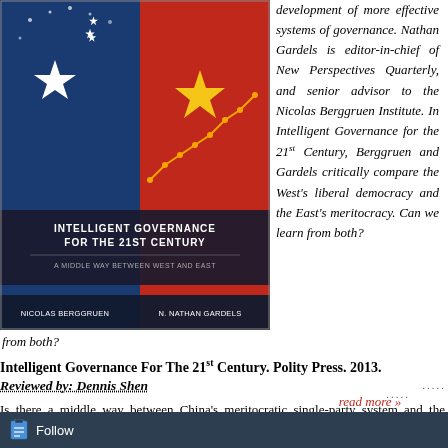[Figure (illustration): Book cover for 'Intelligent Governance for the 21st Century: A Middle Way Between West and East' by Nicolas Berggruen and N. Nathan Gardels. Blue and red background with Chinese flag stars motif, white star, yellow star, and a trend line graph.]
development of more effective systems of governance. Nathan Gardels is editor-in-chief of New Perspectives Quarterly, and senior advisor to the Nicolas Berggruen Institute. In Intelligent Governance for the 21st Century, Berggruen and Gardels critically compare the West's liberal democracy and the East's meritocracy. Can we learn from both?
Intelligent Governance For The 21st Century. Polity Press. 2013.
Reviewed by: Dennis Shen
Is there a middle way between China's meritocratic single-party system and the United States' multi-party liberal democracy? This is the question that authors' Nicolas Berggruen and Nathan Gardels ask in their provocative book, Intelligent Governance for the 21st Century.
.....
.....
read more »
.......................
Follow